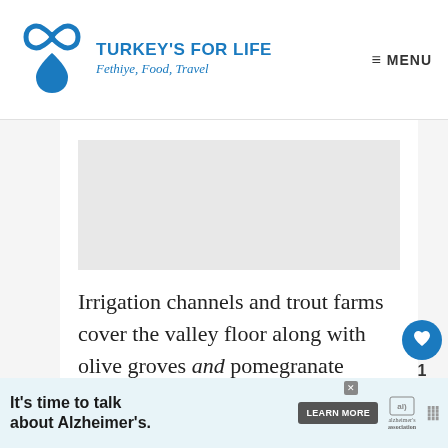TURKEY'S FOR LIFE — Fethiye, Food, Travel
[Figure (photo): Grey placeholder image region for an article photo]
Irrigation channels and trout farms cover the valley floor along with olive groves and pomegranate groves. The area around Lake Köyceğiz seems to be a mass producer of all things and the Ören valley must be the mass
[Figure (photo): What's Next thumbnail: sunset/dusk photo with text 'Exploring Fethiye – Ko...']
[Figure (infographic): Advertisement banner: It's time to talk about Alzheimer's. LEARN MORE. Alzheimer's Association logo.]